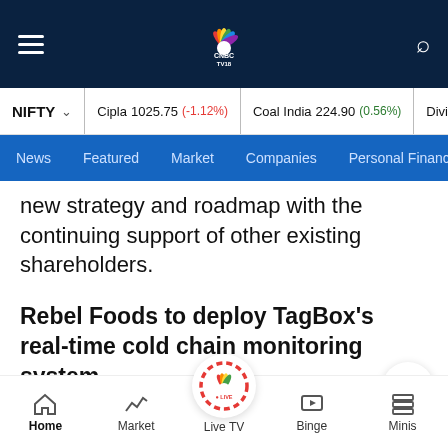CNBC TV18 - Navigation header with hamburger menu, logo, and search icon
NIFTY  |  Cipla 1025.75 (-1.12%)  |  Coal India 224.90 (0.56%)  |  Divis
News  Featured  Market  Companies  Personal Finance
new strategy and roadmap with the continuing support of other existing shareholders.
Rebel Foods to deploy TagBox's real-time cold chain monitoring system
TagBox has announced that providing its AssetLens
Home  Market  Live TV  Binge  Minis